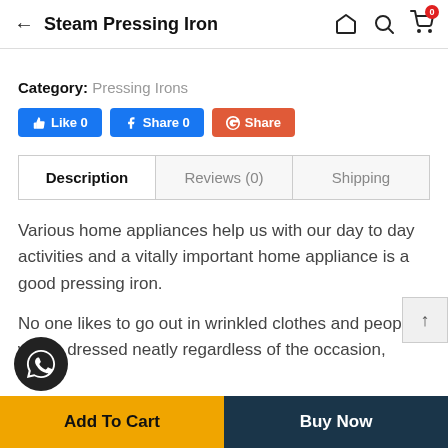Steam Pressing Iron
Category: Pressing Irons
Like 0   Share 0   Share
| Description | Reviews (0) | Shipping |
| --- | --- | --- |
Various home appliances help us with our day to day activities and a vitally important home appliance is a good pressing iron.
No one likes to go out in wrinkled clothes and people w... be dressed neatly regardless of the occasion,
Add To Cart   Buy Now